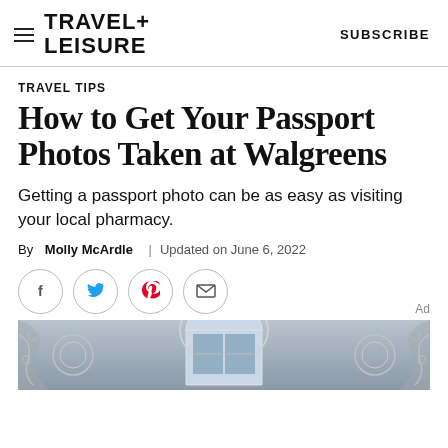TRAVEL+ LEISURE | SUBSCRIBE
TRAVEL TIPS
How to Get Your Passport Photos Taken at Walgreens
Getting a passport photo can be as easy as visiting your local pharmacy.
By Molly McArdle | Updated on June 6, 2022
[Figure (other): Social sharing icons: Facebook, Twitter, Pinterest, Email]
[Figure (photo): Bottom portion showing ornate architectural detail with arched window]